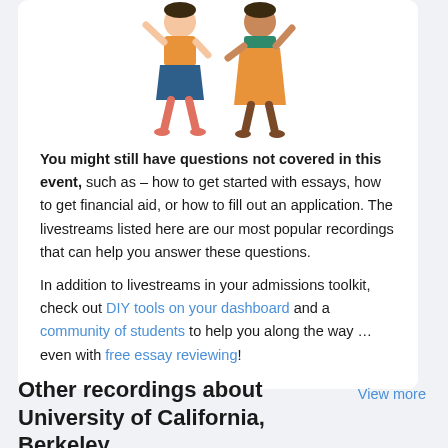[Figure (illustration): Two illustrated figures of people waving, one in a blue skirt and orange top, one in an orange dress with green top]
You might still have questions not covered in this event, such as – how to get started with essays, how to get financial aid, or how to fill out an application. The livestreams listed here are our most popular recordings that can help you answer these questions.
In addition to livestreams in your admissions toolkit, check out DIY tools on your dashboard and a community of students to help you along the way … even with free essay reviewing!
Other recordings about University of California, Berkeley
View more